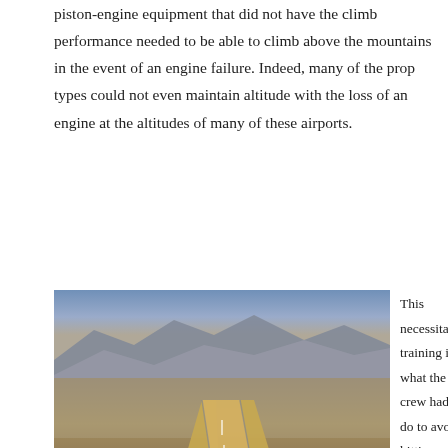piston-engine equipment that did not have the climb performance needed to be able to climb above the mountains in the event of an engine failure. Indeed, many of the prop types could not even maintain altitude with the loss of an engine at the altitudes of many of these airports.
[Figure (photo): Aerial photograph of an airport runway surrounded by a dense urban area with mountains in the background.]
This necessitated training in what the crew had to do to avoid hitting terrain while the airplane descended with the remaining engine(s) at their maximum except takeoff (METO) power settings. This “out” had to be memorized for every airport and every runway along the system. Pilots had to know what headings to take and